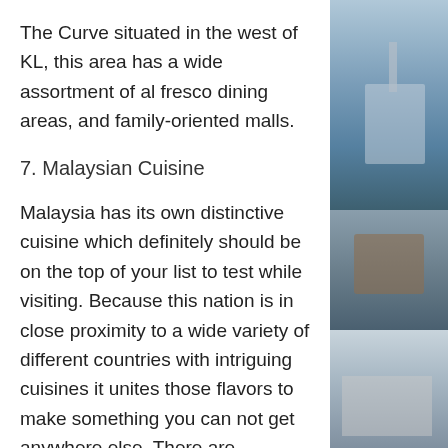The Curve situated in the west of KL, this area has a wide assortment of al fresco dining areas, and family-oriented malls.
7. Malaysian Cuisine
Malaysia has its own distinctive cuisine which definitely should be on the top of your list to test while visiting. Because this nation is in close proximity to a wide variety of different countries with intriguing cuisines it unites those flavors to make something you can not get anywhere else. There are elements of Indian and Chinese foods in Malaysian cuisine, but there are also many dishes which are completely unique. You can find an assortment of mouth-watering dishes to satisfy your
[Figure (photo): Three stacked photos on the right side of the page: top showing a marina or harbor with masts and water under blue sky; middle showing what appears to be food or market items; bottom showing water or sky scene.]